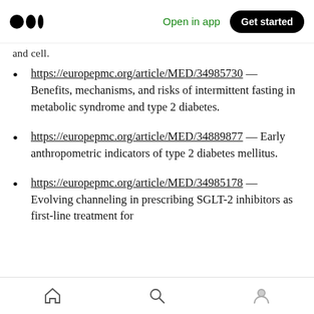Medium logo | Open in app | Get started
and cell.
https://europepmc.org/article/MED/34985730 — Benefits, mechanisms, and risks of intermittent fasting in metabolic syndrome and type 2 diabetes.
https://europepmc.org/article/MED/34889877 — Early anthropometric indicators of type 2 diabetes mellitus.
https://europepmc.org/article/MED/34985178 — Evolving channeling in prescribing SGLT-2 inhibitors as first-line treatment for
Home | Search | Profile